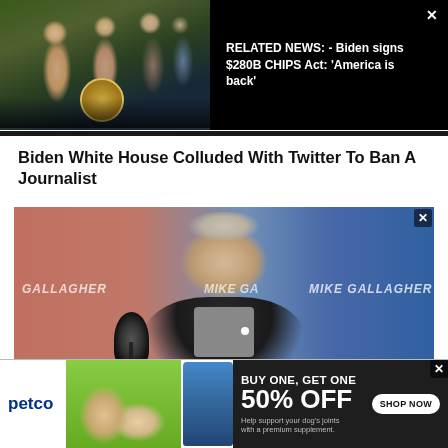[Figure (screenshot): Related news banner with photo of Biden signing CHIPS Act at a podium with people around him, Presidential seal visible on desk]
RELATED NEWS: - Biden signs $280B CHIPS Act: 'America is back'
Biden White House Colluded With Twitter To Ban A Journalist
[Figure (screenshot): Mike Gallagher radio show screenshot showing a man speaking into a microphone with 'MIKE GALLAGHER' branding in background and lower-third ticker]
[Figure (advertisement): Petco advertisement: BUY ONE, GET ONE 50% OFF - Help support your dog's joints with a premium supplement. SHOP NOW button. Shows woman with dog and supplement bottle.]